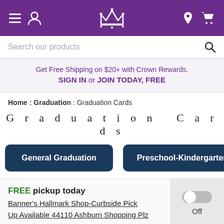Hallmark navigation bar with hamburger menu, user icon, crown logo, location icon, cart icon
Search our products
Get Free Shipping on $20+ with Crown Rewards. SIGN IN or JOIN TODAY, FREE
Home : Graduation : Graduation Cards
Graduation Cards
General Graduation
Preschool-Kindergarten
Ju
FREE pickup today Banner's Hallmark Shop-Curbside Pick Up Available 44110 Ashburn Shopping Plz
Off